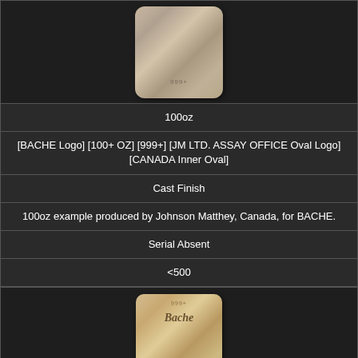[Figure (photo): Photo of a silver bar from the top/front, showing a cast silver bar with '999+' marking visible]
100oz
[BACHE Logo] [100+ OZ] [999+] [JM LTD. ASSAY OFFICE Oval Logo] [CANADA Inner Oval]
Cast Finish
100oz example produced by Johnson Matthey, Canada, for BACHE.
Serial Absent
<500
[Figure (photo): Photo of the bottom/face of the silver Bache bar showing 'Bache' logo impressed into the metal with '999+' marking at top]